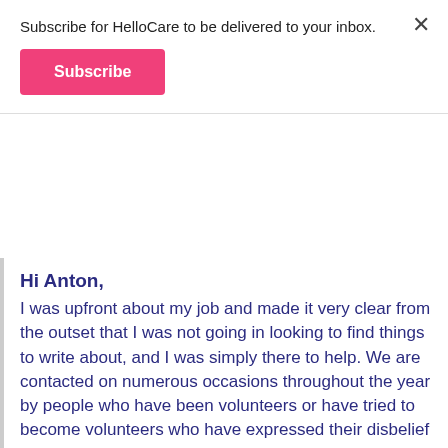Subscribe for HelloCare to be delivered to your inbox.
Subscribe
Hi Anton,
I was upfront about my job and made it very clear from the outset that I was not going in looking to find things to write about, and I was simply there to help. We are contacted on numerous occasions throughout the year by people who have been volunteers or have tried to become volunteers who have expressed their disbelief at how they have been treated in homes or when attempting to volunteer. We also have a number of staff at HelloCare who have worked and continue to work in the aged care space that have seen firsthand how undervalued the volunteers at